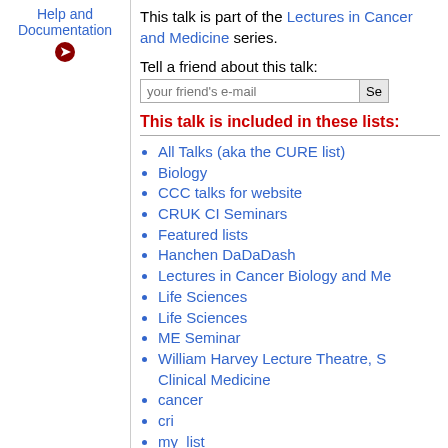Help and Documentation
This talk is part of the Lectures in Cancer and Medicine series.
Tell a friend about this talk:
your friend's e-mail [input field] Se[nd button]
This talk is included in these lists:
All Talks (aka the CURE list)
Biology
CCC talks for website
CRUK CI Seminars
Featured lists
Hanchen DaDaDash
Lectures in Cancer Biology and Me[dicine]
Life Sciences
Life Sciences
ME Seminar
William Harvey Lecture Theatre, S[chool of] Clinical Medicine
cancer
cri
my_list
ndk22's list
se302's list